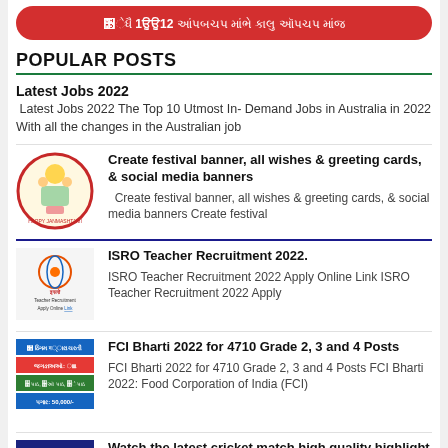[Figure (infographic): Red rounded banner with Gujarati/Hindi text about class 1 to 12 scholarship or scheme]
POPULAR POSTS
Latest Jobs 2022
Latest Jobs 2022 The Top 10 Utmost In- Demand Jobs in Australia in 2022 With all the changes in the Australian job
[Figure (illustration): Circular image with Krishna festival theme / Happy Janmashtami]
Create festival banner, all wishes & greeting cards, & social media banners
Create festival banner, all wishes & greeting cards, & social media banners Create festival
[Figure (logo): ISRO logo with text Teacher Recruitment Apply Online Link]
ISRO Teacher Recruitment 2022.
ISRO Teacher Recruitment 2022 Apply Online Link ISRO Teacher Recruitment 2022 Apply
[Figure (infographic): FCI Bharti 2022 banner in Gujarati with job details and salary 50,000]
FCI Bharti 2022 for 4710 Grade 2, 3 and 4 Posts
FCI Bharti 2022 for 4710 Grade 2, 3 and 4 Posts FCI Bharti 2022: Food Corporation of India (FCI)
[Figure (photo): Cricket players photo for highlight videos post]
Watch the latest cricket match high quality highlight videos and pictures
IND VS ENGLAND MATHS T20 IND VS WEST